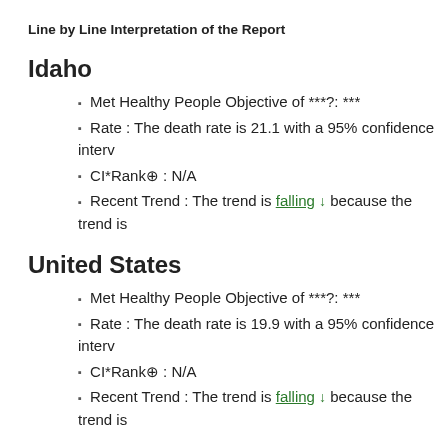Line by Line Interpretation of the Report
Idaho
Met Healthy People Objective of ***?: ***
Rate : The death rate is 21.1 with a 95% confidence interv
CI*Rank⋒ : N/A
Recent Trend : The trend is falling ↓ because the trend is
United States
Met Healthy People Objective of ***?: ***
Rate : The death rate is 19.9 with a 95% confidence interv
CI*Rank⋒ : N/A
Recent Trend : The trend is falling ↓ because the trend is
Bannock County